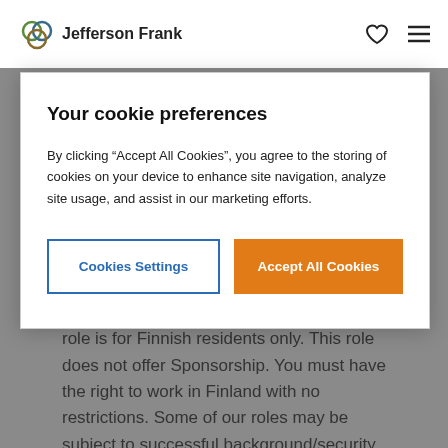Jefferson Frank
Email: j.upton@jeffersonfrank.com
Phone: +358 75 3266673
Please Note: This is a permanent role. This role is for Finnish residents only. This role does not offer Sponsorship. You must have the right to work in Finland with no restrictions. Some of our roles may be subject to successful background/security
Your cookie preferences
By clicking “Accept All Cookies”, you agree to the storing of cookies on your device to enhance site navigation, analyze site usage, and assist in our marketing efforts.
Cookies Settings
Accept All Cookies